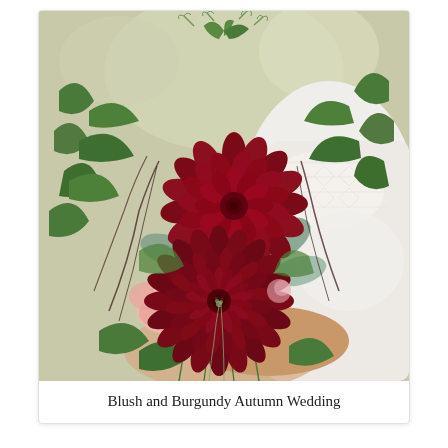[Figure (photo): A person in a white lace dress holding a bridal bouquet featuring two large deep burgundy/dark red dahlia flowers surrounded by lush mixed greenery including ferns, eucalyptus, and wispy foliage, with blush pink roses visible beneath.]
Blush and Burgundy Autumn Wedding